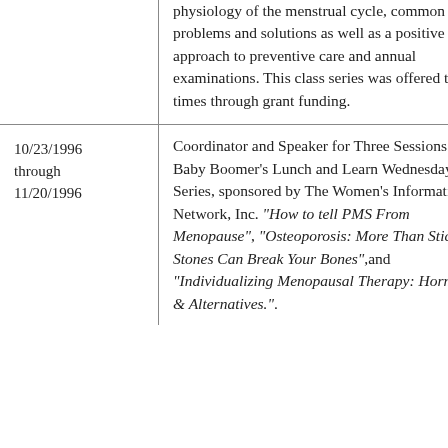|  | physiology of the menstrual cycle, common problems and solutions as well as a positive approach to preventive care and annual examinations. This class series was offered three times through grant funding. |
| 10/23/1996 through 11/20/1996 | Coordinator and Speaker for Three Sessions of Baby Boomer's Lunch and Learn Wednesday Series, sponsored by The Women's Information Network, Inc. “How to tell PMS From Menopause”, “Osteoporosis: More Than Sticks & Stones Can Break Your Bones”,and “Individualizing Menopausal Therapy: Hormones & Alternatives.”. |